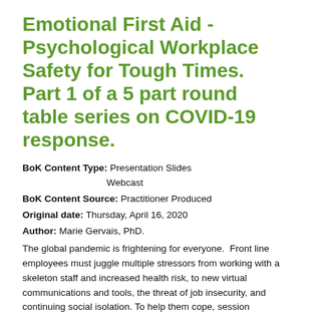Emotional First Aid - Psychological Workplace Safety for Tough Times. Part 1 of a 5 part round table series on COVID-19 response.
BoK Content Type: Presentation Slides
                    Webcast
BoK Content Source: Practitioner Produced
Original date: Thursday, April 16, 2020
Author: Marie Gervais, PhD.
The global pandemic is frightening for everyone.  Front line employees must juggle multiple stressors from working with a skeleton staff and increased health risk, to new virtual communications and tools, the threat of job insecurity, and continuing social isolation. To help them cope, session participants will learn three easy strategies they can use right